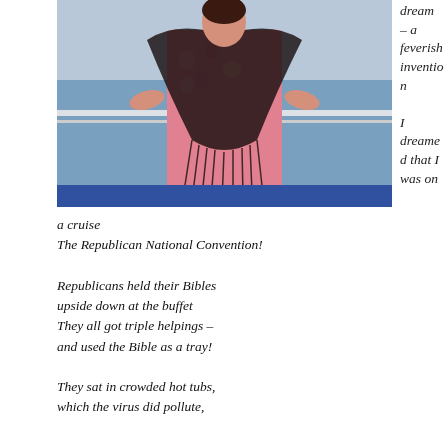[Figure (photo): Woman standing on a cruise ship deck wearing a floral top and black fringed shawl, with ocean and railing visible in background.]
dream – a feverish invention

I dreamed that I was on
a cruise
The Republican National Convention!

Republicans held their Bibles
upside down at the buffet
They all got triple helpings –
and used the Bible as a tray!

They sat in crowded hot tubs,
which the virus did pollute,